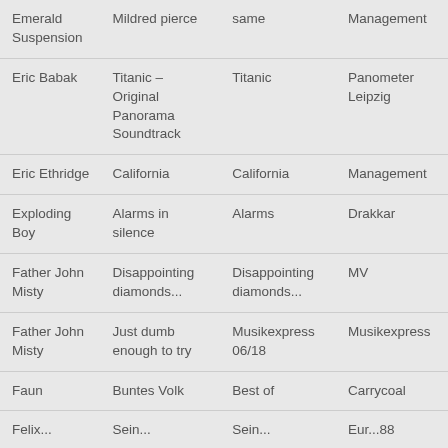| Emerald Suspension | Mildred pierce | same | Management |
| Eric Babak | Titanic – Original Panorama Soundtrack | Titanic | Panometer Leipzig |
| Eric Ethridge | California | California | Management |
| Exploding Boy | Alarms in silence | Alarms | Drakkar |
| Father John Misty | Disappointing diamonds... | Disappointing diamonds... | MV |
| Father John Misty | Just dumb enough to try | Musikexpress 06/18 | Musikexpress |
| Faun | Buntes Volk | Best of | Carrycoal |
| Felix... | Sein... | Sein... | Eur...88 |